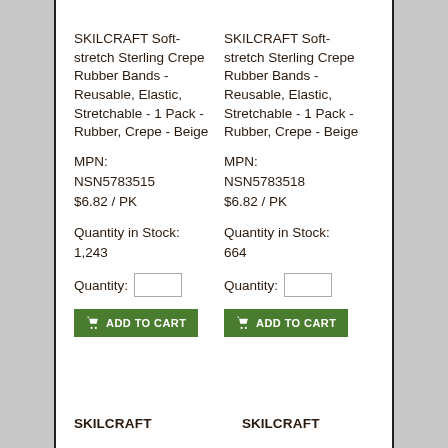SKILCRAFT Soft-stretch Sterling Crepe Rubber Bands - Reusable, Elastic, Stretchable - 1 Pack - Rubber, Crepe - Beige
SKILCRAFT Soft-stretch Sterling Crepe Rubber Bands - Reusable, Elastic, Stretchable - 1 Pack - Rubber, Crepe - Beige
MPN: NSN5783515
$6.82 / PK
MPN: NSN5783518
$6.82 / PK
Quantity in Stock: 1,243
Quantity in Stock: 664
Quantity: [input] ADD TO CART
Quantity: [input] ADD TO CART
SKILCRAFT
SKILCRAFT